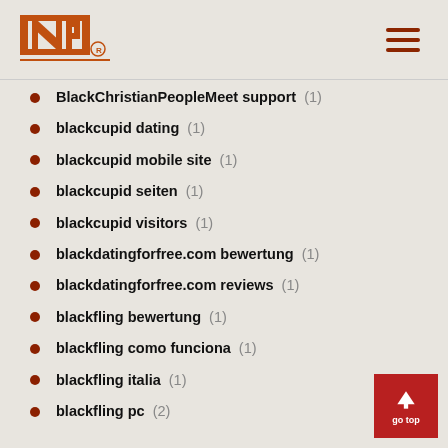INP logo and navigation menu
BlackChristianPeopleMeet support (1)
blackcupid dating (1)
blackcupid mobile site (1)
blackcupid seiten (1)
blackcupid visitors (1)
blackdatingforfree.com bewertung (1)
blackdatingforfree.com reviews (1)
blackfling bewertung (1)
blackfling como funciona (1)
blackfling italia (1)
blackfling pc (2)